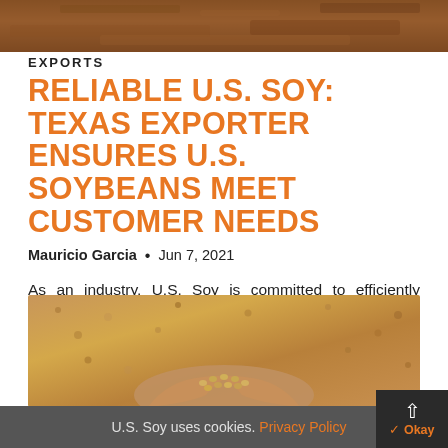[Figure (photo): Close-up photo of soybeans/grain, brownish-orange tones, top banner]
EXPORTS
RELIABLE U.S. SOY: TEXAS EXPORTER ENSURES U.S. SOYBEANS MEET CUSTOMER NEEDS
Mauricio Garcia  •  Jun 7, 2021
As an industry, U.S. Soy is committed to efficiently delivering high-quality soybeans to our customers. My family business Garcia Grain Trading, an independent grain-handling and…
[Figure (photo): Photo of hands holding soybeans with sandy/grain background]
U.S. Soy uses cookies. Privacy Policy  ✓ Okay